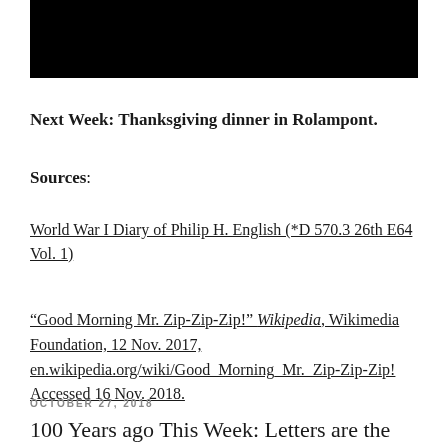[Figure (photo): Dark/black image at the top of the page, partially visible]
Next Week:  Thanksgiving dinner in Rolampont.
Sources:
World War I Diary of Philip H. English (*D 570.3 26th E64 Vol. 1)
“Good Morning Mr. Zip-Zip-Zip!” Wikipedia, Wikimedia Foundation, 12 Nov. 2017, en.wikipedia.org/wiki/Good_Morning_Mr._Zip-Zip-Zip! Accessed 16 Nov. 2018.
OCTOBER 27, 2018
100 Years ago This Week: Letters are the